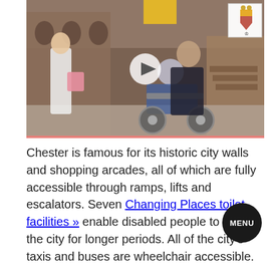[Figure (photo): A woman pushing an elderly person in a wheelchair outside a historic stone building in Chester. A coat of arms logo is visible in the top right corner of the video thumbnail. A play button is overlaid in the center.]
Chester is famous for its historic city walls and shopping arcades, all of which are fully accessible through ramps, lifts and escalators. Seven Changing Places toilet facilities » enable disabled people to visit the city for longer periods. All of the city's taxis and buses are wheelchair accessible. Ability Angels provio shopping companions. A city centre guide »